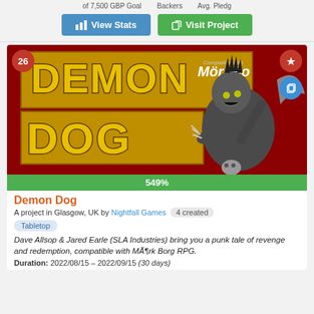of 7,500 GBP Goal   Backers   Avg. Pledg
View Stats   Visit Project
[Figure (illustration): Demon Dog game art: a punk zombie warrior with a mohawk wielding a scythe, DEMON DOG text in yellow graffiti letters on red background, Compatible with Mörk Borg logo top right. Badge showing 26 top left, star and copy icons top right.]
549%
Demon Dog
A project in Glasgow, UK by Nightfall Games  4 created
Tabletop
Dave Allsop & Jared Earle (SLA Industries) bring you a punk tale of revenge and redemption, compatible with Mörk Borg RPG.
Duration: 2022/08/15 – 2022/09/15 (30 days)